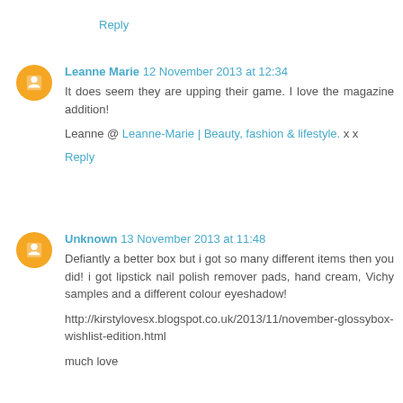Reply
Leanne Marie 12 November 2013 at 12:34
It does seem they are upping their game. I love the magazine addition!
Leanne @ Leanne-Marie | Beauty, fashion & lifestyle. x x
Reply
Unknown 13 November 2013 at 11:48
Defiantly a better box but i got so many different items then you did! i got lipstick nail polish remover pads, hand cream, Vichy samples and a different colour eyeshadow!
http://kirstylovesx.blogspot.co.uk/2013/11/november-glossybox-wishlist-edition.html
much love